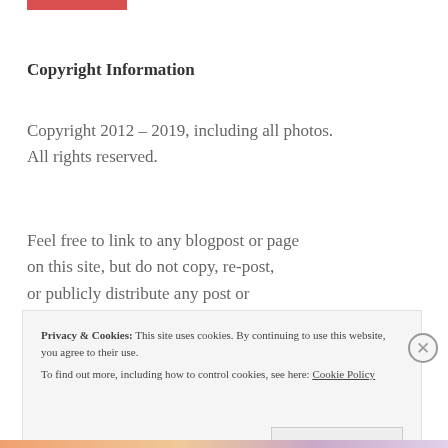[Figure (other): Red decorative bar at top of page]
Copyright Information
Copyright 2012 – 2019, including all photos. All rights reserved.
Feel free to link to any blogpost or page on this site, but do not copy, re-post, or publicly distribute any post or page on this site or any part thereof at length or in anywise outside of United
Privacy & Cookies: This site uses cookies. By continuing to use this website, you agree to their use.
To find out more, including how to control cookies, see here: Cookie Policy
Close and accept